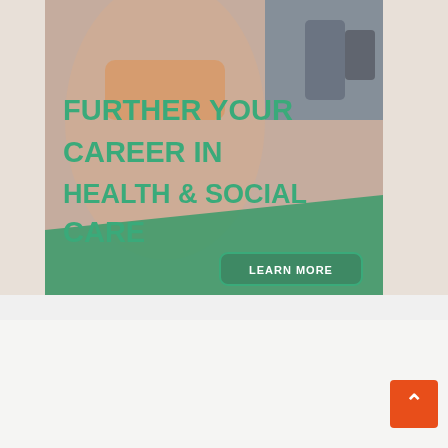[Figure (photo): Healthcare banner image with overlaid text 'FURTHER YOUR CAREER IN HEALTH & SOCIAL CARE' in green bold uppercase letters, and a 'LEARN MORE' button. Background shows medical/healthcare scene with blood pressure monitor. Green diagonal stripe at bottom.]
Category
Best Dishes